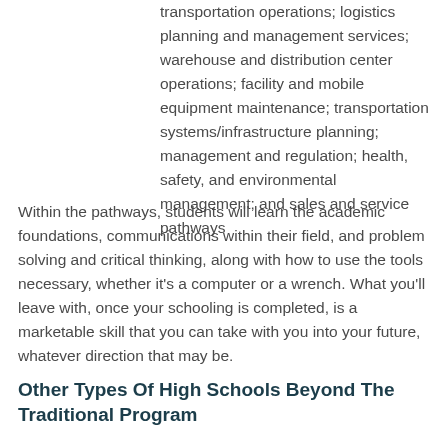transportation operations; logistics planning and management services; warehouse and distribution center operations; facility and mobile equipment maintenance; transportation systems/infrastructure planning; management and regulation; health, safety, and environmental management; and sales and service pathways
Within the pathways, students will learn the academic foundations, communications within their field, and problem solving and critical thinking, along with how to use the tools necessary, whether it's a computer or a wrench. What you'll leave with, once your schooling is completed, is a marketable skill that you can take with you into your future, whatever direction that may be.
Other Types Of High Schools Beyond The Traditional Program